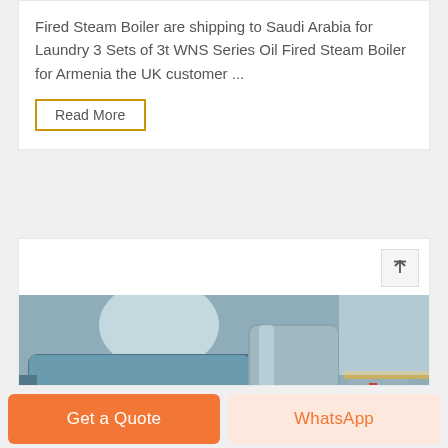Fired Steam Boiler are shipping to Saudi Arabia for Laundry 3 Sets of 3t WNS Series Oil Fired Steam Boiler for Armenia the UK customer ...
Read More
[Figure (photo): Industrial oil-fired steam boiler equipment in a factory setting, showing blue boiler body with ZOZEN logo, cylindrical components, and support structures.]
Get a Quote
WhatsApp